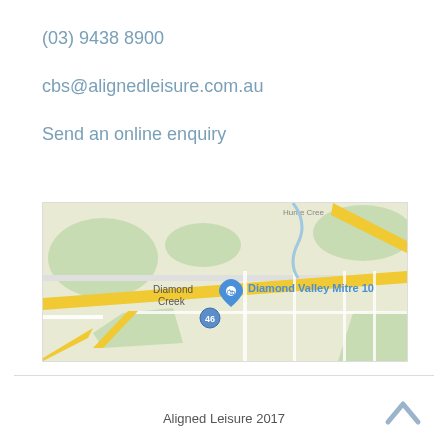(03) 9438 8900
cbs@alignedleisure.com.au
Send an online enquiry
[Figure (map): Google Maps screenshot showing Diamond Creek area with a marker for Diamond Valley Mitre 10, with roads including route 46 visible.]
Aligned Leisure 2017